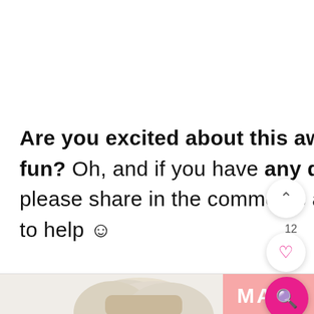Are you excited about this awesome way to make math fun? Oh, and if you have any questions about BRAINIKA, please share in the comments area below and I'll be happy to help 😊
[Figure (screenshot): Bottom portion showing a person with light/white hair and a pink label reading MATH]